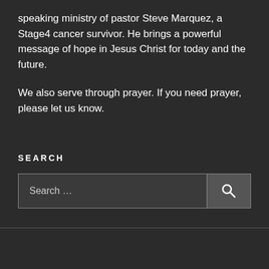speaking ministry of pastor Steve Marquez, a Stage4 cancer survivor. He brings a powerful message of hope in Jesus Christ for today and the future.
We also serve through prayer. If you need prayer, please let us know.
SEARCH
Search …